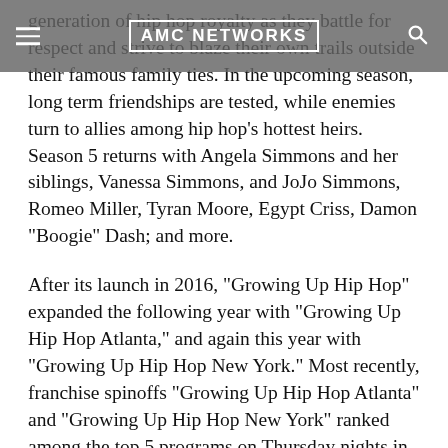AMC NETWORKS
generation of hip hop royalty as they battle for respect and strive to blaze their own trails outside their famous family ties. In the upcoming season, long term friendships are tested, while enemies turn to allies among hip hop’s hottest heirs. Season 5 returns with Angela Simmons and her siblings, Vanessa Simmons, and JoJo Simmons, Romeo Miller, Tyran Moore, Egypt Criss, Damon “Boogie” Dash; and more.
After its launch in 2016, “Growing Up Hip Hop” expanded the following year with “Growing Up Hip Hop Atlanta,” and again this year with “Growing Up Hip Hop New York.” Most recently, franchise spinoffs “Growing Up Hip Hop Atlanta” and “Growing Up Hip Hop New York” ranked among the top 5 programs on Thursday nights in the third quarter of 2019, with “Growing Up Hip Hop Atlanta” rated the